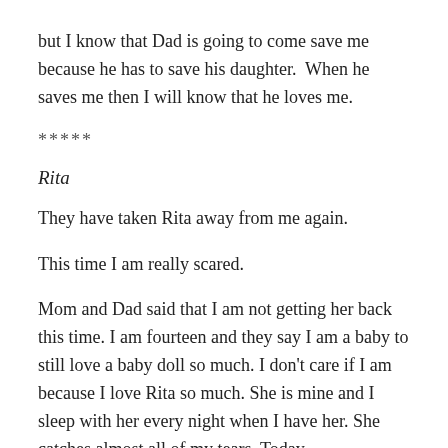but I know that Dad is going to come save me because he has to save his daughter.  When he saves me then I will know that he loves me.
*****
Rita
They have taken Rita away from me again.
This time I am really scared.
Mom and Dad said that I am not getting her back this time. I am fourteen and they say I am a baby to still love a baby doll so much. I don't care if I am because I love Rita so much. She is mine and I sleep with her every night when I have her. She catches almost all of my tears. Today